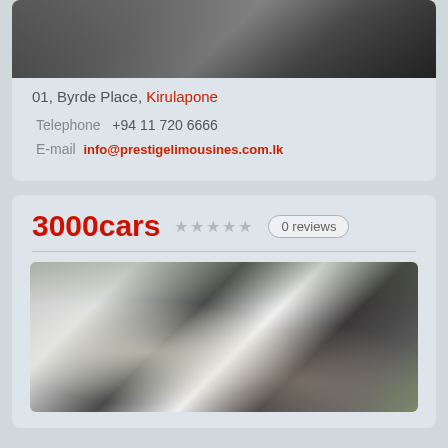[Figure (photo): Wedding photo showing couple with vintage car, partial view at top of page]
01, Byrde Place, Kirulapone
Telephone  +94 11 720 6666
E-mail  info@prestigelimousines.com.lk
3000cars
0 reviews
[Figure (photo): Wedding couple posing with a vintage white and black classic car decorated with ribbons, outdoors with greenery in background]